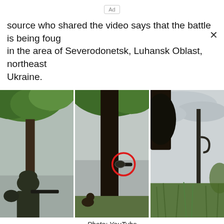Ad
source who shared the video says that the battle is being fought in the area of Severodonetsk, Luhansk Oblast, northeast Ukraine.
[Figure (photo): Three video stills side by side showing soldiers in camouflage gear in a wooded/grassy field. Middle frame has a red circle highlighting a weapon scope. Right frame shows a pole/weapon in a grassy field with overcast sky.]
Photo: YouTube